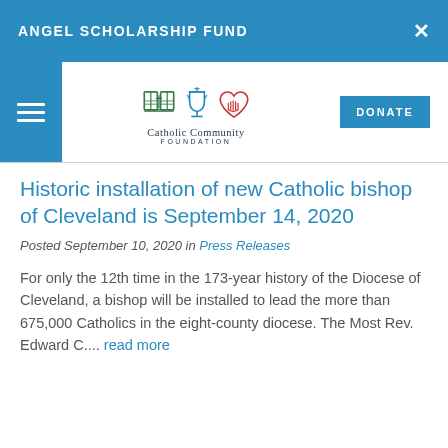ANGEL SCHOLARSHIP FUND
[Figure (logo): Catholic Community Foundation logo with book, chalice, and heart icons]
Historic installation of new Catholic bishop of Cleveland is September 14, 2020
Posted September 10, 2020 in Press Releases
For only the 12th time in the 173-year history of the Diocese of Cleveland, a bishop will be installed to lead the more than 675,000 Catholics in the eight-county diocese. The Most Rev. Edward C.... read more